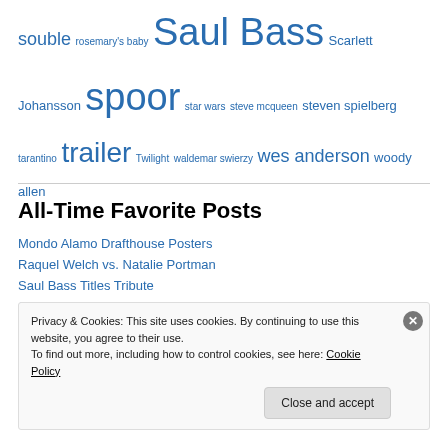souble rosemary's baby Saul Bass Scarlett Johansson spoor star wars steve mcqueen steven spielberg tarantino trailer Twilight waldemar swierzy wes anderson woody allen
All-Time Favorite Posts
Mondo Alamo Drafthouse Posters
Raquel Welch vs. Natalie Portman
Saul Bass Titles Tribute
Godfather Movie Posters
Mondo Cinema Posters
Georges Seurat-Inspired Poster
Privacy & Cookies: This site uses cookies. By continuing to use this website, you agree to their use. To find out more, including how to control cookies, see here: Cookie Policy